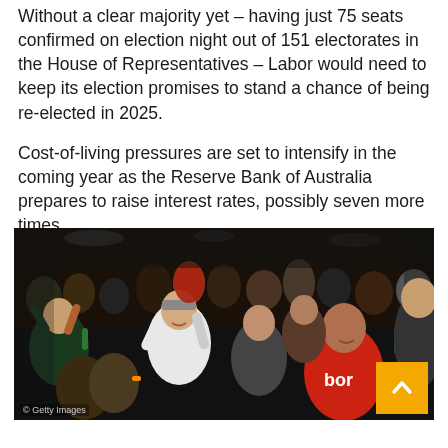Without a clear majority yet – having just 75 seats confirmed on election night out of 151 electorates in the House of Representatives – Labor would need to keep its election promises to stand a chance of being re-elected in 2025.
Cost-of-living pressures are set to intensify in the coming year as the Reserve Bank of Australia prepares to raise interest rates, possibly seven more times.
[Figure (photo): A crowd of celebrating Labor supporters, some raising fists and holding bottles, one person wearing a red Labor t-shirt in the foreground. Taken at an election night event.]
© Getty Images